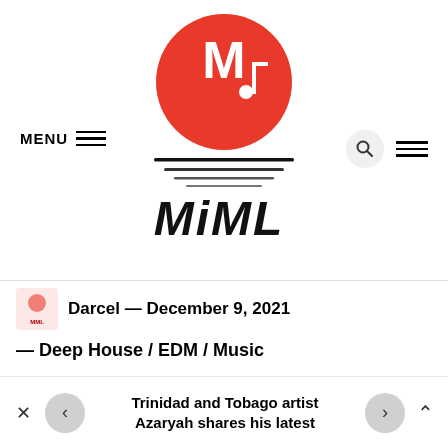[Figure (logo): MIML music website logo — red circle with white M and music note icon, horizontal lines below forming a sun/sunset shape, with 'MiML' handwritten text below]
MENU
Darcel — December 9, 2021
— Deep House / EDM / Music
Steam Phunk and Lena Sue's 'When I'm With You' puts me in a great mood for the weekend ahead. The Deep House jam is the definition of a hit song. Every second
Trinidad and Tobago artist Azaryah shares his latest